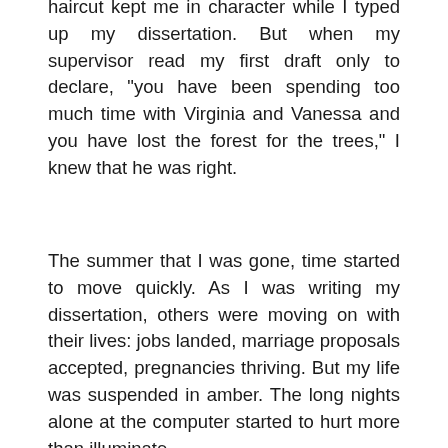haircut kept me in character while I typed up my dissertation. But when my supervisor read my first draft only to declare, "you have been spending too much time with Virginia and Vanessa and you have lost the forest for the trees," I knew that he was right.
The summer that I was gone, time started to move quickly. As I was writing my dissertation, others were moving on with their lives: jobs landed, marriage proposals accepted, pregnancies thriving. But my life was suspended in amber. The long nights alone at the computer started to hurt more than illuminate.